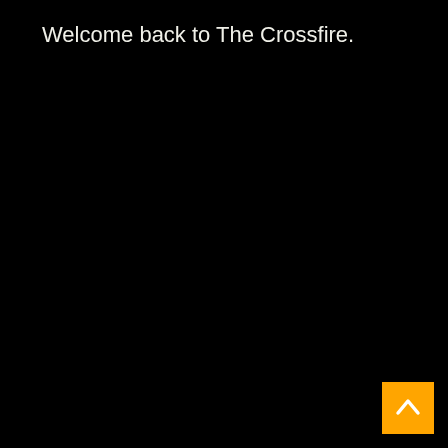Welcome back to The Crossfire.
[Figure (other): Orange square button with white upward-pointing chevron arrow, positioned at bottom-right corner of a black screen]